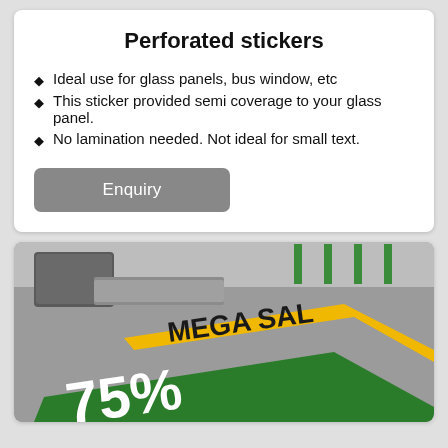Perforated stickers
Ideal use for glass panels, bus window, etc
This sticker provided semi coverage to your glass panel.
No lamination needed. Not ideal for small text.
Enquiry
[Figure (photo): A floor sticker showing 'MEGA SALE 75% OFF' with green and yellow/orange colors, placed on a grey floor in what appears to be a retail store.]